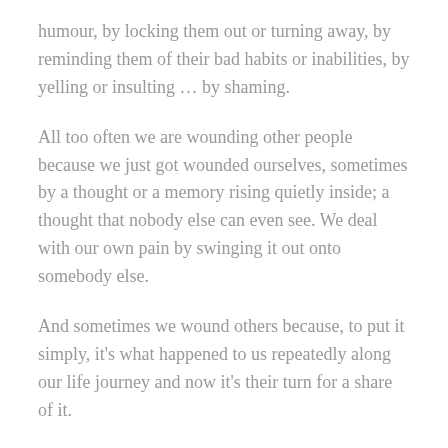humour, by locking them out or turning away, by reminding them of their bad habits or inabilities, by yelling or insulting … by shaming.
All too often we are wounding other people because we just got wounded ourselves, sometimes by a thought or a memory rising quietly inside; a thought that nobody else can even see. We deal with our own pain by swinging it out onto somebody else.
And sometimes we wound others because, to put it simply, it's what happened to us repeatedly along our life journey and now it's their turn for a share of it.
But perhaps even more often than we wound others, we wound ourselves.